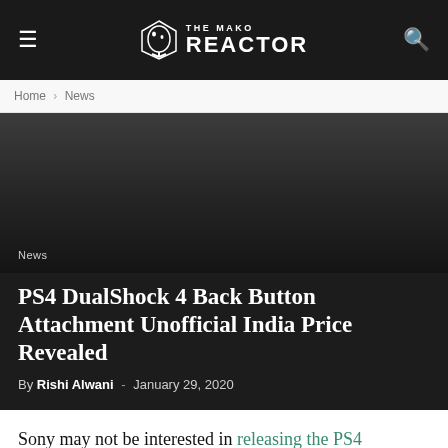THE MAKO REACTOR
Home › News
[Figure (photo): Dark hero image background for article, gradient from dark grey to near black]
News
PS4 DualShock 4 Back Button Attachment Unofficial India Price Revealed
By Rishi Alwani - January 29, 2020
Sony may not be interested in releasing the PS4